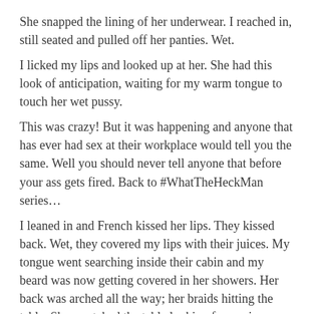She snapped the lining of her underwear. I reached in, still seated and pulled off her panties. Wet. I licked my lips and looked up at her. She had this look of anticipation, waiting for my warm tongue to touch her wet pussy. This was crazy! But it was happening and anyone that has ever had sex at their workplace would tell you the same. Well you should never tell anyone that before your ass gets fired. Back to #WhatTheHeckMan series… I leaned in and French kissed her lips. They kissed back. Wet, they covered my lips with their juices. My tongue went searching inside their cabin and my beard was now getting covered in her showers. Her back was arched all the way; her braids hitting the table. She scratched the table looking for a grip. Nothing. I absolutely enjoyed feasting on her body. My left fingers still playing with her right nipple as my tongue